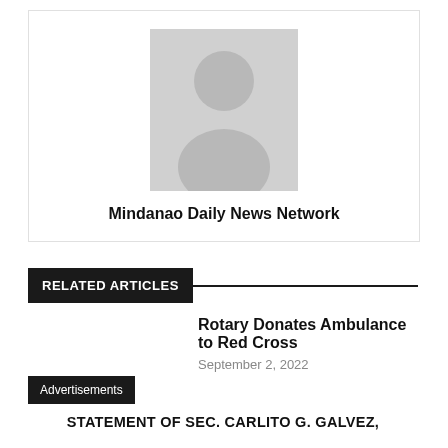[Figure (illustration): Author avatar placeholder with default person silhouette in gray, with name 'Mindanao Daily News Network' below]
RELATED ARTICLES
Rotary Donates Ambulance to Red Cross
September 2, 2022
Advertisements
STATEMENT OF SEC. CARLITO G. GALVEZ,